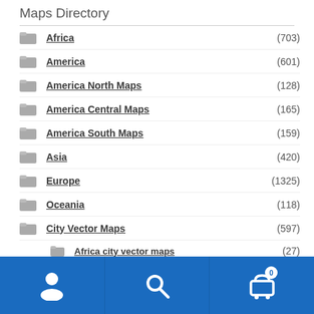Maps Directory
Africa (703)
America (601)
America North Maps (128)
America Central Maps (165)
America South Maps (159)
Asia (420)
Europe (1325)
Oceania (118)
City Vector Maps (597)
Africa city vector maps (27)
Navigation bar with user, search, and cart icons